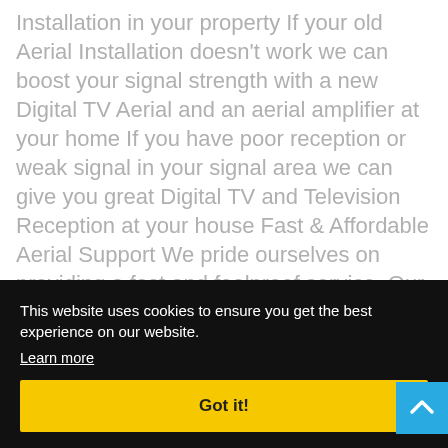Installation in your property If your old Aerial Installation doesn't work we can boost your signal strength with a new Digital TV Aerial and an aerial amplifier at your home If you have poor reception or weak signal in your signal area we can give you great Digital TV and Television Reception at your house Fast & Affordable Aerial Support We pride ourselves on providing a fast and foolproof service. Our engineers carry any parts that may be required to complete your repair or installation. This [...]e-day [...] k to [...] ree, [...] er [...] or [...] 051
This website uses cookies to ensure you get the best experience on our website.
Learn more
Got it!